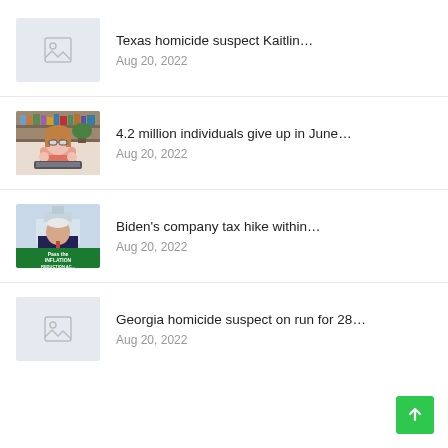Texas homicide suspect Kaitlin…
Aug 20, 2022
4.2 million individuals give up in June…
Aug 20, 2022
Biden's company tax hike within…
Aug 20, 2022
Georgia homicide suspect on run for 28…
Aug 20, 2022